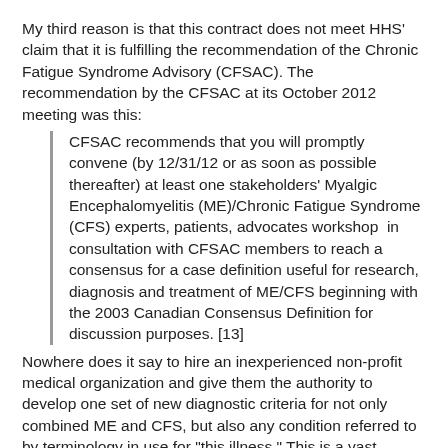My third reason is that this contract does not meet HHS' claim that it is fulfilling the recommendation of the Chronic Fatigue Syndrome Advisory (CFSAC). The recommendation by the CFSAC at its October 2012 meeting was this:
CFSAC recommends that you will promptly convene (by 12/31/12 or as soon as possible thereafter) at least one stakeholders' Myalgic Encephalomyelitis (ME)/Chronic Fatigue Syndrome (CFS) experts, patients, advocates workshop  in consultation with CFSAC members to reach a consensus for a case definition useful for research, diagnosis and treatment of ME/CFS beginning with the 2003 Canadian Consensus Definition for discussion purposes. [13]
Nowhere does it say to hire an inexperienced non-profit medical organization and give them the authority to develop one set of new diagnostic criteria for not only combined ME and CFS, but also any condition referred to by terminology in use for "this illness." This is a vast overreach and interference with the integrity of science by HHS for which it is attempting to use the CFSAC recommendation as political cover. The contract does not require consultation with CFSAC members as requested in the recommendation, but only with the CFSAC ex officio agencies. It is obvious HHS' claim that, "This